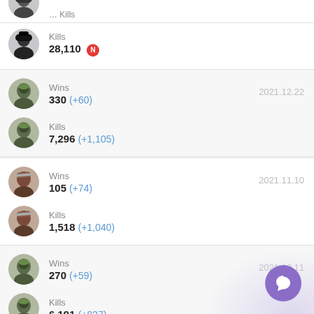Kills 28,110 [N]
Wins 330 (+60) — 2021.12.22
Kills 7,296 (+1,105)
Wins 105 (+74) — 2021.11.10
Kills 1,518 (+1,040)
Wins 270 (+59) — 2021.10.11
Kills 6,191 (+837)
Wins 211 [N] — 2021.09.05
Kills 5,354 [N]
Played Games 7,296 (+1,279) — 2020.12.18